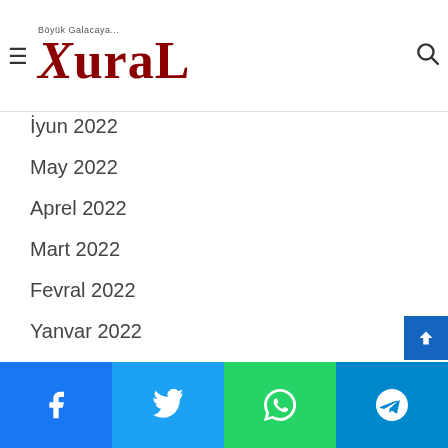Böyük Galacaya... XuraL
İyun 2022
May 2022
Aprel 2022
Mart 2022
Fevral 2022
Yanvar 2022
Categories
48 Hours In
Art
Books